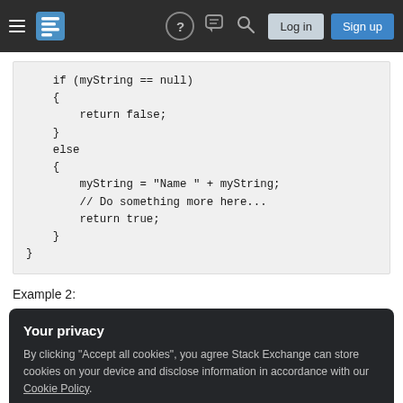Stack Exchange navigation bar with hamburger menu, logo, help, chat, search, Log in and Sign up buttons
[Figure (screenshot): Code block showing if/else C# code snippet with myString null check]
Example 2:
Your privacy
By clicking "Accept all cookies", you agree Stack Exchange can store cookies on your device and disclose information in accordance with our Cookie Policy.
[Figure (screenshot): Partially visible code block showing opening brace and return false statement]